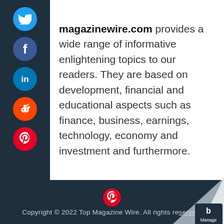[Figure (other): Social media share icons sidebar: Twitter (blue circle), Facebook (dark blue circle), LinkedIn (blue circle), Reddit (orange circle), Pinterest (red circle)]
magazinewire.com provides a wide range of informative enlightening topics to our readers. They are based on development, financial and educational aspects such as finance, business, earnings, technology, economy and investment and furthermore.
Copyright © 2022 Top Magazine Wire. All rights reserved.